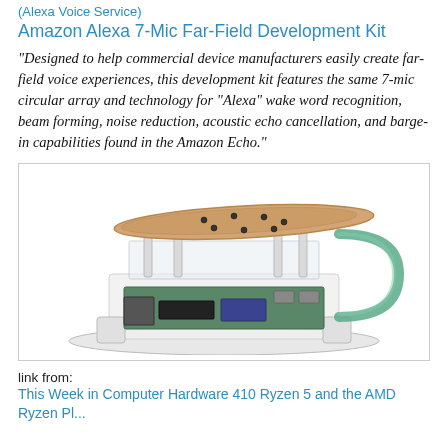(Alexa Voice Service)
Amazon Alexa 7-Mic Far-Field Development Kit
"Designed to help commercial device manufacturers easily create far-field voice experiences, this development kit features the same 7-mic circular array and technology for "Alexa" wake word recognition, beam forming, noise reduction, acoustic echo cancellation, and barge-in capabilities found in the Amazon Echo."
[Figure (photo): Amazon Alexa 7-Mic Far-Field Development Kit hardware showing a circular microphone array board mounted on top of a transparent acrylic enclosure with a green antenna/cable, and a circuit board visible inside]
link from:
This Week in Computer Hardware 410 Ryzen 5 and the AMD Ryzen Pl...